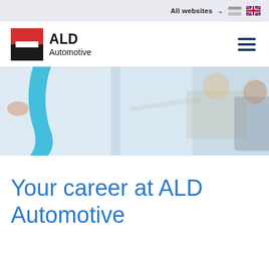All websites
[Figure (logo): ALD Automotive logo with red and black square icon and bold text 'ALD Automotive']
[Figure (photo): Business meeting scene: a woman with blonde hair gesturing with her arm extended while a man in a plaid shirt looks on, in a bright office environment with a whiteboard and blue accent]
Your career at ALD Automotive